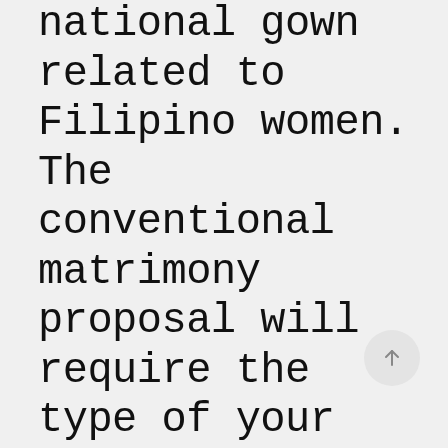national gown related to Filipino women. The conventional matrimony proposal will require the type of your pamanhikan or pamamanhikan also parental wedding proposal, an official way of asking the moms and dads associated with the